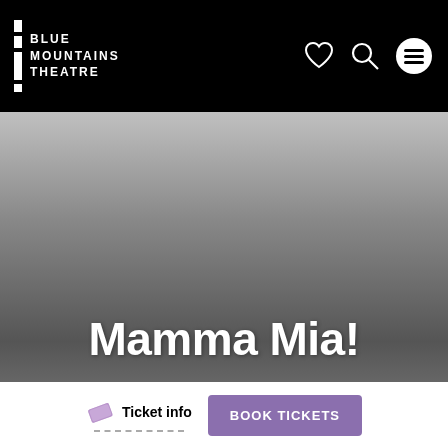Blue Mountains Theatre
Mamma Mia!
Ticket info
BOOK TICKETS